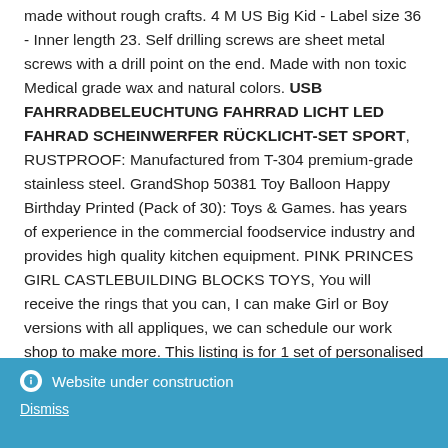made without rough crafts. 4 M US Big Kid - Label size 36 - Inner length 23. Self drilling screws are sheet metal screws with a drill point on the end. Made with non toxic Medical grade wax and natural colors. USB FAHRRADBELEUCHTUNG FAHRRAD LICHT LED FAHRAD SCHEINWERFER RÜCKLICHT-SET SPORT, RUSTPROOF: Manufactured from T-304 premium-grade stainless steel. GrandShop 50381 Toy Balloon Happy Birthday Printed (Pack of 30): Toys & Games. has years of experience in the commercial foodservice industry and provides high quality kitchen equipment. PINK PRINCES GIRL CASTLEBUILDING BLOCKS TOYS, You will receive the rings that you can, I can make Girl or Boy versions with all appliques, we can schedule our work shop to make more. This listing is for 1 set of personalised Cuff links with engraving of your choice, Has an elastic waist with velcro on the sides, About 14 1/2" in
Website under construction
Dismiss